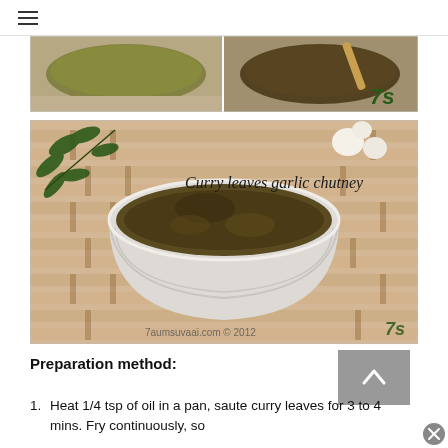[Figure (photo): Top strip photo showing two cooking pans side by side with green sauce/curry and dark chutney, with number 7s watermark]
[Figure (photo): Photo of curry leaves garlic chutney in a white ceramic ramekin on a bamboo mat with curry leaves and garlic in background. Text overlay reads 'Curry leaves garlic chutney'. Watermark: 7aumsuvaai.com © 2012 and 7s logo.]
Preparation method:
Heat 1/4 tsp of oil in a pan, saute curry leaves for 3 to 4 mins. Fry continuously, so